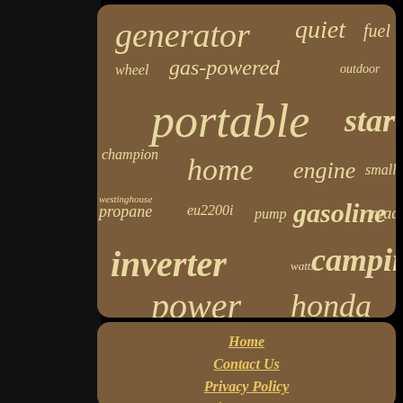[Figure (other): Word cloud on brown background with generator-related keywords in cream/yellow italic text. Words include: generator, quiet, fuel, wheel, gas-powered, outdoor, portable, start, champion, home, engine, small, westinghouse, propane, eu2200i, pump, gasoline, ready, inverter, watts, camping, power, honda. Background shows a portable generator photo behind the brown overlay box.]
Home
Contact Us
Privacy Policy
Service Agreement
EN  FR